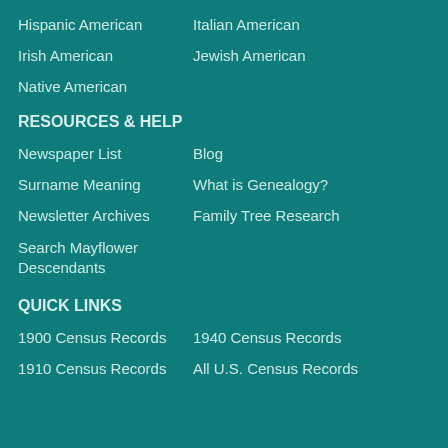Hispanic American    Italian American
Irish American    Jewish American
Native American
RESOURCES & HELP
Newspaper List    Blog
Surname Meaning    What is Genealogy?
Newsletter Archives    Family Tree Research
Search Mayflower
Descendants
QUICK LINKS
1900 Census Records    1940 Census Records
1910 Census Records    All U.S. Census Records